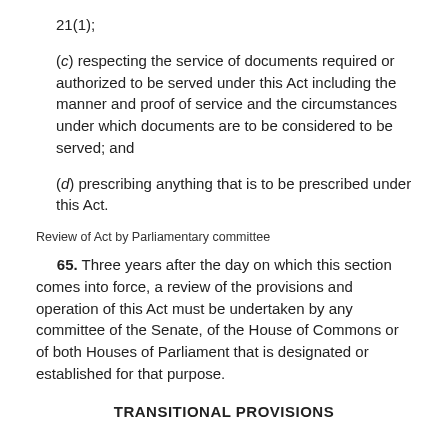21(1);
(c) respecting the service of documents required or authorized to be served under this Act including the manner and proof of service and the circumstances under which documents are to be considered to be served; and
(d) prescribing anything that is to be prescribed under this Act.
Review of Act by Parliamentary committee
65. Three years after the day on which this section comes into force, a review of the provisions and operation of this Act must be undertaken by any committee of the Senate, of the House of Commons or of both Houses of Parliament that is designated or established for that purpose.
TRANSITIONAL PROVISIONS